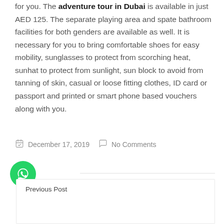The 6 hours desert adventure will be a memorable tour for you. The adventure tour in Dubai is available in just AED 125. The separate playing area and spate bathroom facilities for both genders are available as well. It is necessary for you to bring comfortable shoes for easy mobility, sunglasses to protect from scorching heat, sunhat to protect from sunlight, sun block to avoid from tanning of skin, casual or loose fitting clothes, ID card or passport and printed or smart phone based vouchers along with you.
December 17, 2019   No Comments
[Figure (other): Green WhatsApp circular button icon]
Previous Post